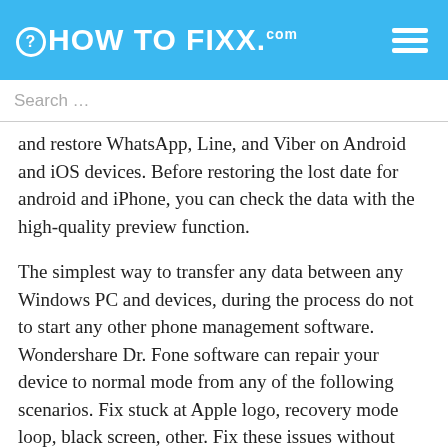HOW TO FIXX.com
Search …
and restore WhatsApp, Line, and Viber on Android and iOS devices. Before restoring the lost date for android and iPhone, you can check the data with the high-quality preview function.
The simplest way to transfer any data between any Windows PC and devices, during the process do not to start any other phone management software. Wondershare Dr. Fone software can repair your device to normal mode from any of the following scenarios. Fix stuck at Apple logo, recovery mode loop, black screen, other. Fix these issues without causing data loss.
Dr. fone toolkit software contains many useful features with the help of which you can easily recover lost data from any mobile and tablet devices, create copies of data, transfer text